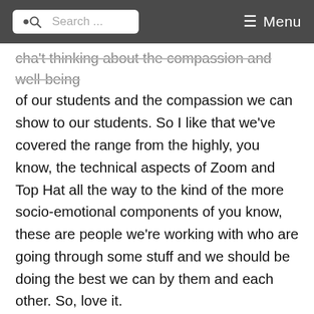Search ... Menu
cha't thinking about the compassion and well-being of our students and the compassion we can show to our students. So I like that we've covered the range from the highly, you know, the technical aspects of Zoom and Top Hat all the way to the kind of the more socio-emotional components of you know, these are people we're working with who are going through some stuff and we should be doing the best we can by them and each other. So, love it.
JT: We hope you've enjoyed our discussion with Dr. Raven Jackson, Dr. Thomas Maestri and Dr. KiTani Parker, MBA of Xavier's College of Pharmacy. If you liked what you heard, please consider subscribing to this podcast so you never miss an episode. And if you